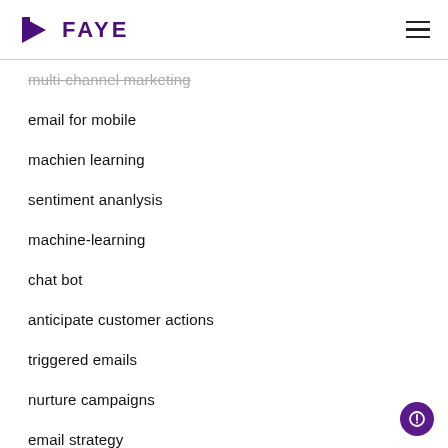FAYE
multi-channel marketing
email for mobile
machien learning
sentiment ananlysis
machine-learning
chat bot
anticipate customer actions
triggered emails
nurture campaigns
email strategy